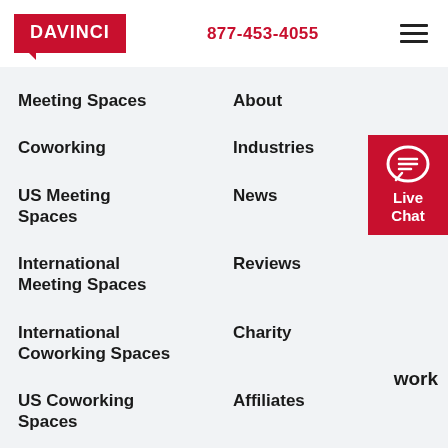DAVINCI | 877-453-4055
Meeting Spaces
About
Coworking
Industries
US Meeting Spaces
News
International Meeting Spaces
Reviews
International Coworking Spaces
Charity
US Coworking Spaces
Affiliates
Davinci uses cookies to improve your website experience. Cookie Policy